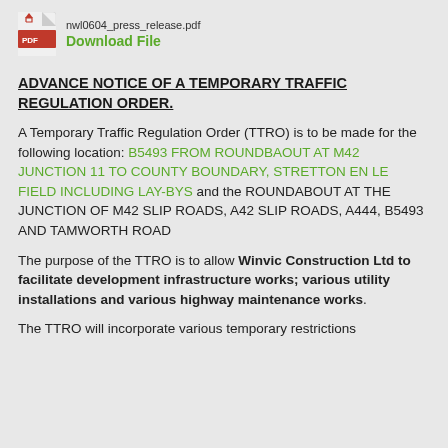nwl0604_press_release.pdf  Download File
ADVANCE NOTICE OF A TEMPORARY TRAFFIC REGULATION ORDER.
A Temporary Traffic Regulation Order (TTRO) is to be made for the following location: B5493 FROM ROUNDBAOUT AT M42 JUNCTION 11 TO COUNTY BOUNDARY, STRETTON EN LE FIELD INCLUDING LAY-BYS and the ROUNDABOUT AT THE JUNCTION OF M42 SLIP ROADS, A42 SLIP ROADS, A444, B5493 AND TAMWORTH ROAD
The purpose of the TTRO is to allow Winvic Construction Ltd to facilitate development infrastructure works; various utility installations and various highway maintenance works.
The TTRO will incorporate various temporary restrictions